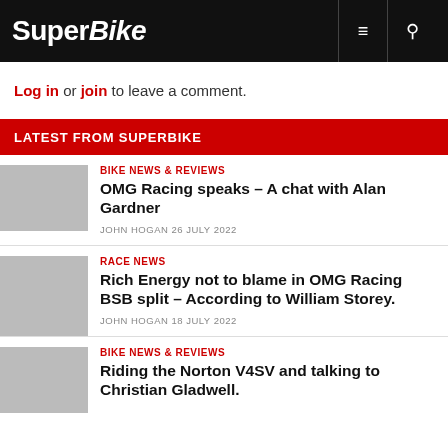SuperBike
Log in or join to leave a comment.
LATEST FROM SUPERBIKE
BIKE NEWS & REVIEWS
OMG Racing speaks – A chat with Alan Gardner
JOHN HOGAN 26 JULY 2022
RACE NEWS
Rich Energy not to blame in OMG Racing BSB split – According to William Storey.
JOHN HOGAN 18 JULY 2022
BIKE NEWS & REVIEWS
Riding the Norton V4SV and talking to Christian Gladwell.